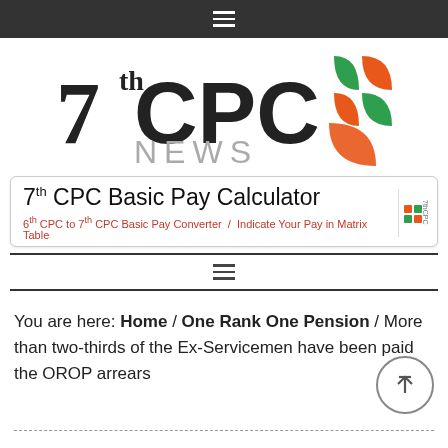Navigation bar with hamburger menu
[Figure (logo): 7th CPC NEWS logo with orange and green decorative squares graphic]
[Figure (screenshot): 7th CPC Basic Pay Calculator banner — 6th CPC to 7th CPC Basic Pay Converter / Indicate Your Pay in Matrix Table]
You are here: Home / One Rank One Pension / More than two-thirds of the Ex-Servicemen have been paid the OROP arrears